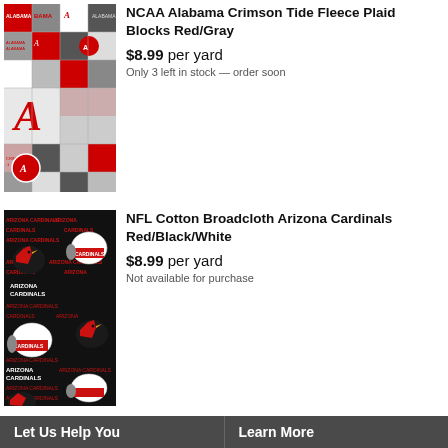[Figure (photo): NCAA Alabama Crimson Tide Fleece Plaid Blocks Red/Gray fabric pattern showing plaid blocks with Alabama logos, A letters, and BAMA text in red, gray, black, and white]
NCAA Alabama Crimson Tide Fleece Plaid Blocks Red/Gray
$8.99 per yard
Only 3 left in stock — order soon
[Figure (photo): NFL Cotton Broadcloth Arizona Cardinals Red/Black/White fabric pattern showing Arizona Cardinals helmets and logos with Arizona Cardinals text on black background]
NFL Cotton Broadcloth Arizona Cardinals Red/Black/White
$8.99 per yard
Not available for purchase
Let Us Help You   Learn More